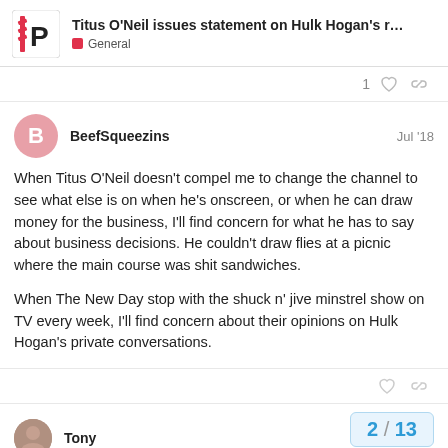Titus O'Neil issues statement on Hulk Hogan's r... | General
1
BeefSqueezins  Jul '18
When Titus O'Neil doesn't compel me to change the channel to see what else is on when he's onscreen, or when he can draw money for the business, I'll find concern for what he has to say about business decisions. He couldn't draw flies at a picnic where the main course was shit sandwiches.

When The New Day stop with the shuck n' jive minstrel show on TV every week, I'll find concern about their opinions on Hulk Hogan's private conversations.
Tony
2 / 13